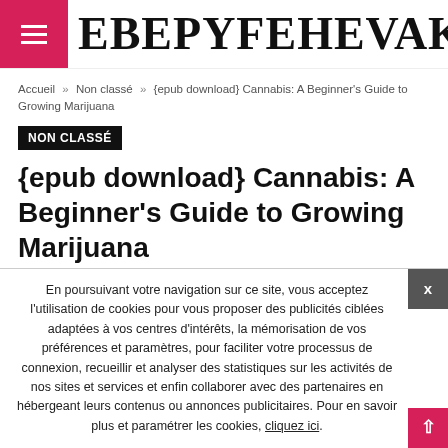EBEPYFEHEVAK
Accueil » Non classé » {epub download} Cannabis: A Beginner's Guide to Growing Marijuana
NON CLASSÉ
{epub download} Cannabis: A Beginner's Guide to Growing Marijuana
Par ebepyfehevak   Publié le 25 octobre 2021   Commentaires fermés   0   28
En poursuivant votre navigation sur ce site, vous acceptez l'utilisation de cookies pour vous proposer des publicités ciblées adaptées à vos centres d'intérêts, la mémorisation de vos préférences et paramètres, pour faciliter votre processus de connexion, recueillir et analyser des statistiques sur les activités de nos sites et services et enfin collaborer avec des partenaires en hébergeant leurs contenus ou annonces publicitaires. Pour en savoir plus et paramétrer les cookies, cliquez ici.